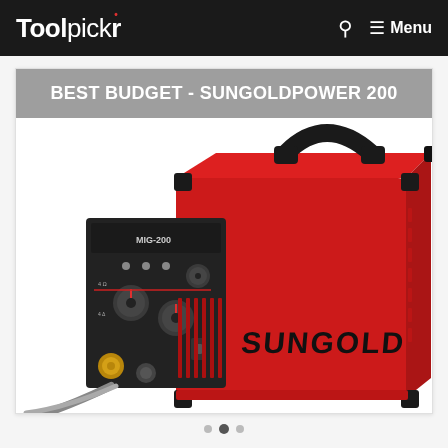Toolpickr | Menu
BEST BUDGET - SUNGOLDPOWER 200
[Figure (photo): Red and black SunGold MIG-200 welding machine with control panel visible on front face, carrying handle on top, ventilation grilles on the side, and SUNGOLD branding on the red body.]